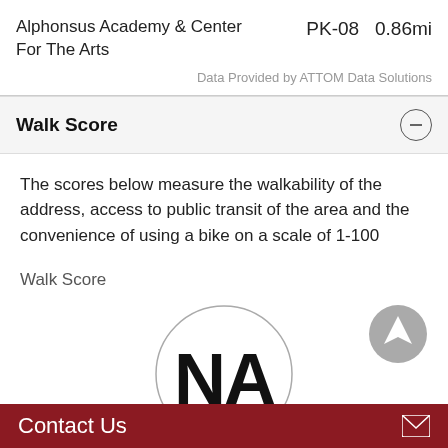Alphonsus Academy & Center For The Arts    PK-08    0.86mi
Data Provided by ATTOM Data Solutions
Walk Score
The scores below measure the walkability of the address, access to public transit of the area and the convenience of using a bike on a scale of 1-100
Walk Score
[Figure (infographic): Circle with 'NA' text indicating Walk Score is not available]
Contact Us